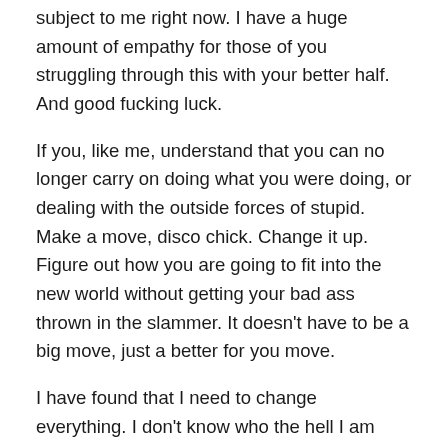subject to me right now. I have a huge amount of empathy for those of you struggling through this with your better half. And good fucking luck.
If you, like me, understand that you can no longer carry on doing what you were doing, or dealing with the outside forces of stupid. Make a move, disco chick. Change it up. Figure out how you are going to fit into the new world without getting your bad ass thrown in the slammer. It doesn't have to be a big move, just a better for you move.
I have found that I need to change everything. I don't know who the hell I am right now. I have never felt more uncomfortable in my own body, and trust me, I have always felt uncomfortable in my body, so that should probably feel more terrifying to me than it actually does. I feel like everything about me is actually someone else